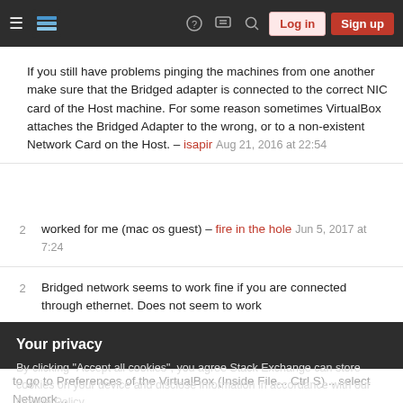Stack Exchange navigation header with hamburger menu, logo, help icon, chat icon, search icon, Log in button, Sign up button
If you still have problems pinging the machines from one another make sure that the Bridged adapter is connected to the correct NIC card of the Host machine. For some reason sometimes VirtualBox attaches the Bridged Adapter to the wrong, or to a non-existent Network Card on the Host. – isapir Aug 21, 2016 at 22:54
2 worked for me (mac os guest) – fire in the hole Jun 5, 2017 at 7:24
2 Bridged network seems to work fine if you are connected through ethernet. Does not seem to work
Your privacy
By clicking "Accept all cookies", you agree Stack Exchange can store cookies on your device and disclose information in accordance with our Cookie Policy.
Accept all cookies   Customize settings
to go to Preferences of the VirtualBox (Inside File... Ctrl S)... select Network...